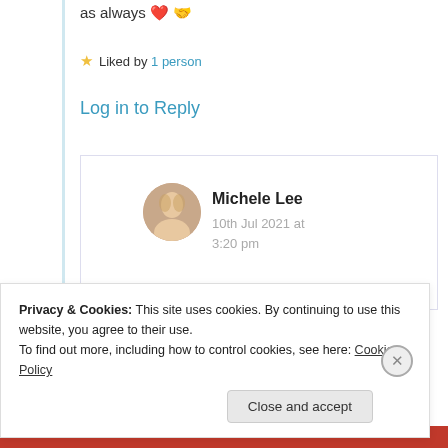as always ❤️ 🤝
★ Liked by 1 person
Log in to Reply
Michele Lee
10th Jul 2021 at 3:20 pm
🦋
Privacy & Cookies: This site uses cookies. By continuing to use this website, you agree to their use.
To find out more, including how to control cookies, see here: Cookie Policy
Close and accept